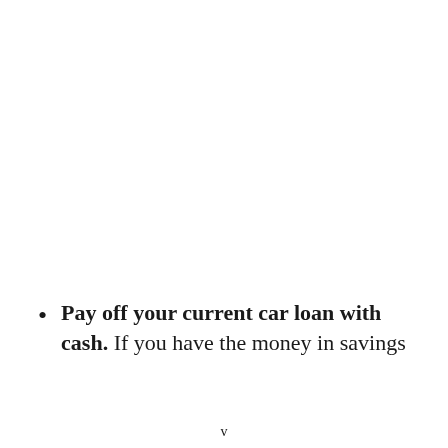Pay off your current car loan with cash. If you have the money in savings
v